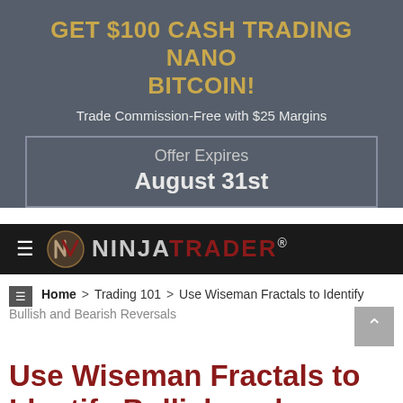GET $100 CASH TRADING NANO BITCOIN!
Trade Commission-Free with $25 Margins
Offer Expires August 31st
[Figure (logo): NinjaTrader logo with hamburger menu icon on dark background]
Home > Trading 101 > Use Wiseman Fractals to Identify Bullish and Bearish Reversals
Use Wiseman Fractals to Identify Bullish and Bearish Reversals